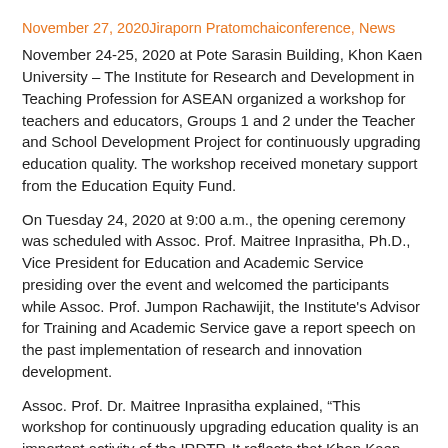November 27, 2020Jiraporn Pratomchaiconference, News
November 24-25, 2020 at Pote Sarasin Building, Khon Kaen University – The Institute for Research and Development in Teaching Profession for ASEAN organized a workshop for teachers and educators, Groups 1 and 2 under the Teacher and School Development Project for continuously upgrading education quality. The workshop received monetary support from the Education Equity Fund.
On Tuesday 24, 2020 at 9:00 a.m., the opening ceremony was scheduled with Assoc. Prof. Maitree Inprasitha, Ph.D., Vice President for Education and Academic Service presiding over the event and welcomed the participants while Assoc. Prof. Jumpon Rachawijit, the Institute's Advisor for Training and Academic Service gave a report speech on the past implementation of research and innovation development.
Assoc. Prof. Dr. Maitree Inprasitha explained, “This workshop for continuously upgrading education quality is an important activity of the IRDTP. It reflects that Khon Kaen University truly sees the importance of quality education and promotes integration of work from all sectors for sustainable development under SCGs mission.”